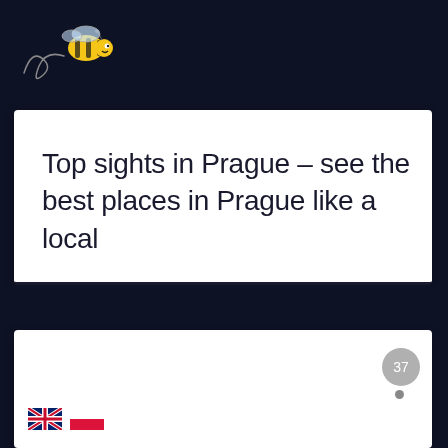[Figure (logo): Bee logo with decorative swirl in top-left corner on dark navy background]
Top sights in Prague – see the best places in Prague like a local
[Figure (other): White card section with number badge showing 37 and a small dot below it, plus UK and Polish flag icons at the bottom left]